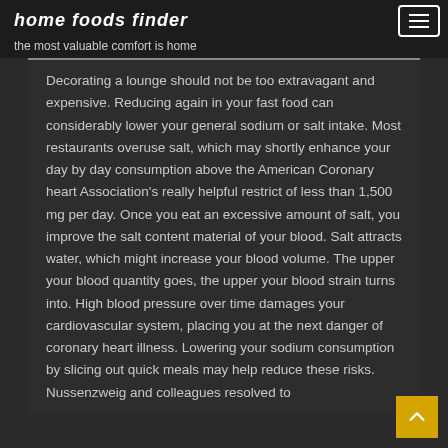home foods finder
the most valuable comfort is home
Decorating a lounge should not be too extravagant and expensive. Reducing again in your fast food can considerably lower your general sodium or salt intake. Most restaurants overuse salt, which may shortly enhance your day by day consumption above the American Coronary heart Association's really helpful restrict of less than 1,500 mg per day. Once you eat an excessive amount of salt, you improve the salt content material of your blood. Salt attracts water, which might increase your blood volume. The upper your blood quantity goes, the upper your blood strain turns into. High blood pressure over time damages your cardiovascular system, placing you at the next danger of coronary heart illness. Lowering your sodium consumption by slicing out quick meals may help reduce these risks. Nussenzweig and colleagues resolved to